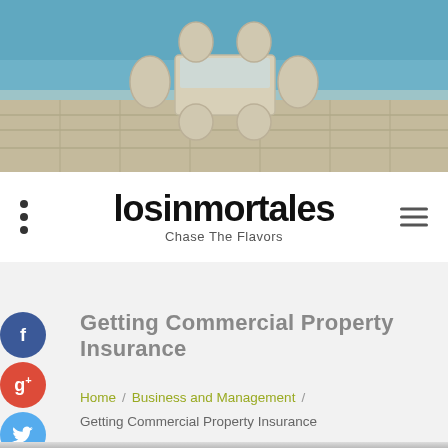[Figure (photo): Outdoor patio with wicker chairs and table beside a swimming pool]
losinmortales
Chase The Flavors
Getting Commercial Property Insurance
Home / Business and Management / Getting Commercial Property Insurance